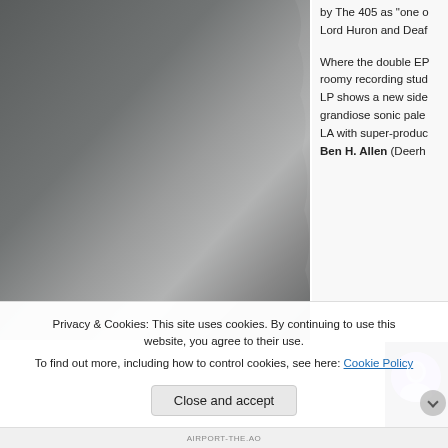[Figure (photo): Dark gray/charcoal colored background or surface filling the left portion of the page]
by The 405 as “one of the best… Lord Huron and Deaf…
Where the double EP… roomy recording stu… LP shows a new side… grandiose sonic pale… LA with super-produ… Ben H. Allen (Deerh…
[Figure (screenshot): Dark card with circular avatar (purple/lilac tones showing a person) and white text starting with 'Haz']
Privacy & Cookies: This site uses cookies. By continuing to use this website, you agree to their use.
To find out more, including how to control cookies, see here: Cookie Policy
Close and accept
AIRPORT-THE.AO